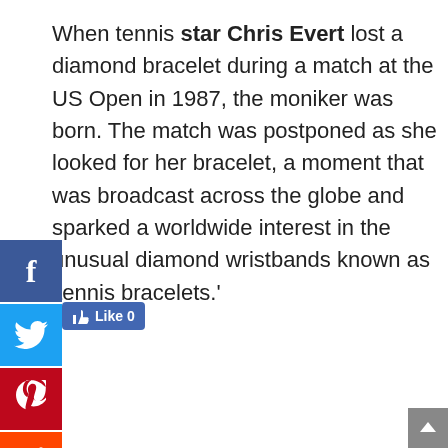When tennis star Chris Evert lost a diamond bracelet during a match at the US Open in 1987, the moniker was born. The match was postponed as she looked for her bracelet, a moment that was broadcast across the globe and sparked a worldwide interest in the unusual diamond wristbands known as 'tennis bracelets.'
Secondly, Can you wear a tennis bracelet 24 7?
The tennis bracelet is versatile enough to be worn on a night out on the town as well as on a daily basis. Because they are so comfy, some